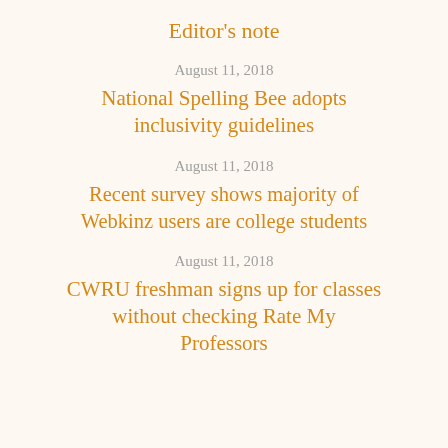Editor's note
August 11, 2018
National Spelling Bee adopts inclusivity guidelines
August 11, 2018
Recent survey shows majority of Webkinz users are college students
August 11, 2018
CWRU freshman signs up for classes without checking Rate My Professors